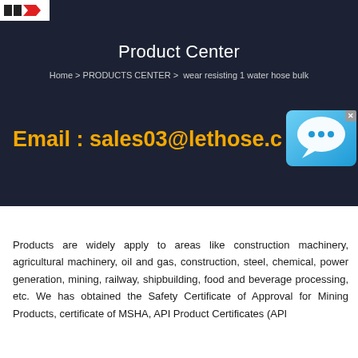[Figure (logo): Company logo with red graphic mark on white background in top left corner]
Product Center
Home > PRODUCTS CENTER >  wear resisting 1 water hose bulk
Email : sales03@lethose.c
[Figure (illustration): Blue chat bubble icon with speech bubble graphic, with X close button in top right corner]
Products are widely apply to areas like construction machinery, agricultural machinery, oil and gas, construction, steel, chemical, power generation, mining, railway, shipbuilding, food and beverage processing, etc. We has obtained the Safety Certificate of Approval for Mining Products, certificate of MSHA, API Product Certificates (API